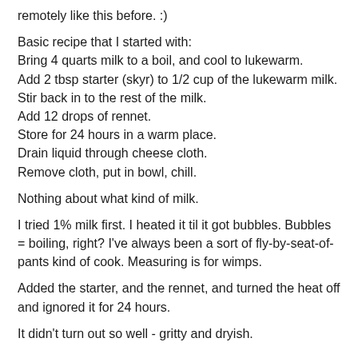remotely like this before. :)
Basic recipe that I started with:
Bring 4 quarts milk to a boil, and cool to lukewarm.
Add 2 tbsp starter (skyr) to 1/2 cup of the lukewarm milk.
Stir back in to the rest of the milk.
Add 12 drops of rennet.
Store for 24 hours in a warm place.
Drain liquid through cheese cloth.
Remove cloth, put in bowl, chill.
Nothing about what kind of milk.
I tried 1% milk first. I heated it til it got bubbles. Bubbles = boiling, right? I've always been a sort of fly-by-seat-of-pants kind of cook. Measuring is for wimps.
Added the starter, and the rennet, and turned the heat off and ignored it for 24 hours.
It didn't turn out so well - gritty and dryish.